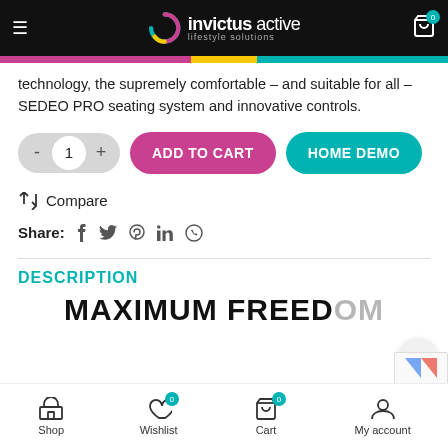invictus active – lifestyle solutions
technology, the supremely comfortable – and suitable for all – SEDEO PRO seating system and innovative controls.
- 1 + | ADD TO CART | HOME DEMO
⇄ Compare
Share: f twitter pinterest in whatsapp
DESCRIPTION
MAXIMUM FREEDOM